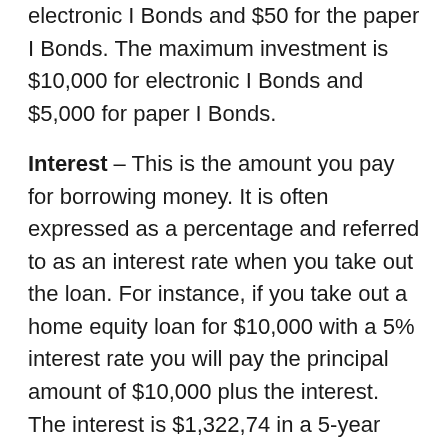electronic I Bonds and $50 for the paper I Bonds. The maximum investment is $10,000 for electronic I Bonds and $5,000 for paper I Bonds.
Interest – This is the amount you pay for borrowing money. It is often expressed as a percentage and referred to as an interest rate when you take out the loan. For instance, if you take out a home equity loan for $10,000 with a 5% interest rate you will pay the principal amount of $10,000 plus the interest. The interest is $1,322,74 in a 5-year loan.